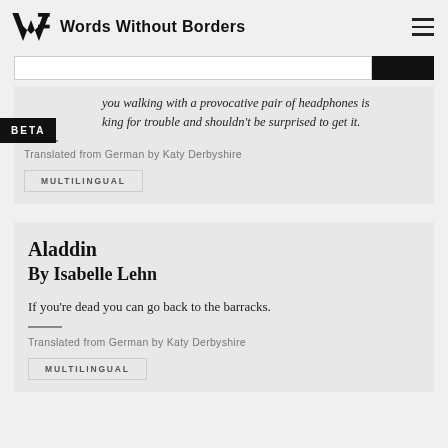Words Without Borders
...you walking with a provocative pair of headphones is king for trouble and shouldn't be surprised to get it.
Translated from German by Katy Derbyshire
MULTILINGUAL
Aladdin
By Isabelle Lehn
If you're dead you can go back to the barracks.
Translated from German by Katy Derbyshire
MULTILINGUAL